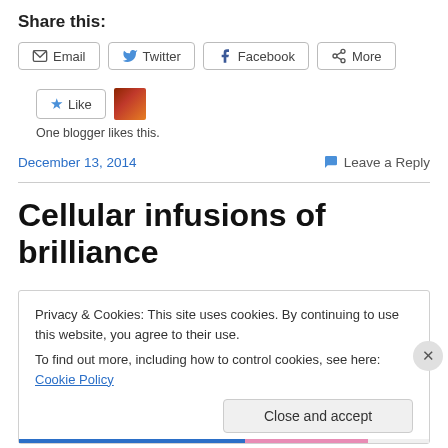Share this:
Email  Twitter  Facebook  More
Like  [blogger avatar]  One blogger likes this.
December 13, 2014    Leave a Reply
Cellular infusions of brilliance
Privacy & Cookies: This site uses cookies. By continuing to use this website, you agree to their use.
To find out more, including how to control cookies, see here: Cookie Policy
Close and accept